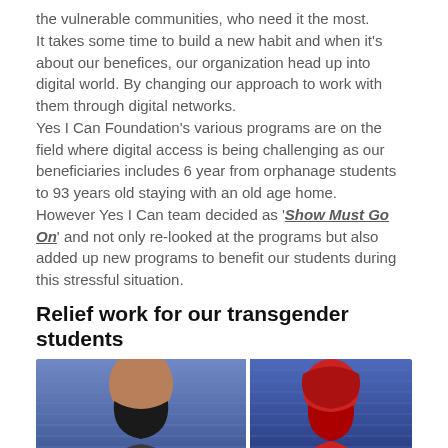the vulnerable communities, who need it the most.
It takes some time to build a new habit and when it’s about our benefices, our organization head up into digital world. By changing our approach to work with them through digital networks.
Yes I Can Foundation’s various programs are on the field where digital access is being challenging as our beneficiaries includes 6 year from orphanage students to 93 years old staying with an old age home.
However Yes I Can team decided as ‘Show Must Go On’ and not only re-looked at the programs but also added up new programs to benefit our students during this stressful situation.
Relief work for our transgender students
[Figure (photo): Two people wearing face masks standing in front of blue shuttered shops. Left person wears a black mask, right person wears a red mask and red hoodie.]